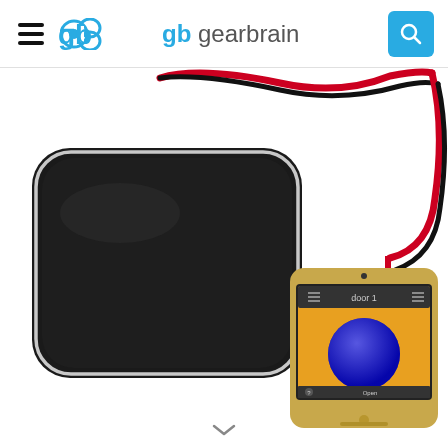gearbrain
[Figure (photo): A black rounded square smart garage door controller device with red and black wires attached, shown alongside a gold smartphone displaying a garage door control app with a large blue button and 'door 1' label on screen.]